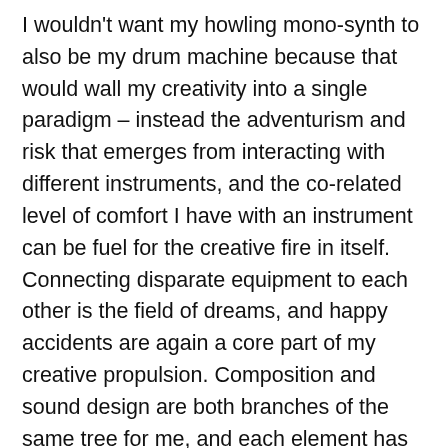I wouldn't want my howling mono-synth to also be my drum machine because that would wall my creativity into a single paradigm – instead the adventurism and risk that emerges from interacting with different instruments, and the co-related level of comfort I have with an instrument can be fuel for the creative fire in itself. Connecting disparate equipment to each other is the field of dreams, and happy accidents are again a core part of my creative propulsion. Composition and sound design are both branches of the same tree for me, and each element has strong influence over the other.
But of course, I'm always excited about the gear, and I love the direction we're heading in in 2021 and onward – and I know that there are major quantum leaps for us musicians yet to reveal themselves as the technology develops which I'm excited to incorporate into my